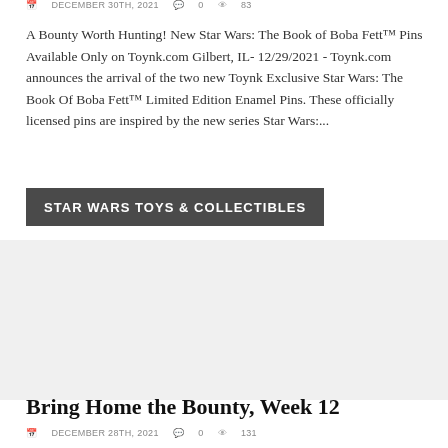DECEMBER 30TH, 2021   0   83
A Bounty Worth Hunting! New Star Wars: The Book of Boba Fett™ Pins Available Only on Toynk.com Gilbert, IL- 12/29/2021 - Toynk.com announces the arrival of the two new Toynk Exclusive Star Wars: The Book Of Boba Fett™ Limited Edition Enamel Pins. These officially licensed pins are inspired by the new series Star Wars:...
STAR WARS TOYS & COLLECTIBLES
[Figure (photo): Image placeholder area for a Star Wars Toys & Collectibles article]
Bring Home the Bounty, Week 12
DECEMBER 28TH, 2021   0   131